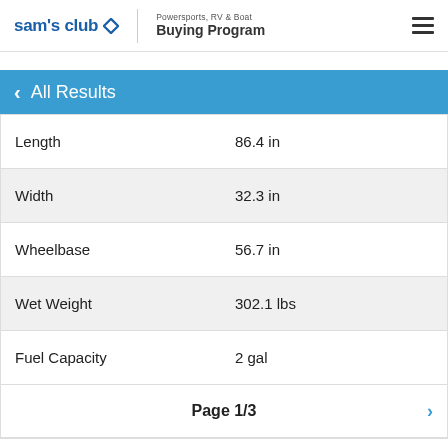sam's club - Powersports, RV & Boat Buying Program
< All Results
|  |  |
| --- | --- |
| Length | 86.4 in |
| Width | 32.3 in |
| Wheelbase | 56.7 in |
| Wet Weight | 302.1 lbs |
| Fuel Capacity | 2 gal |
|  | Page 1/3 |
Get Member Price >